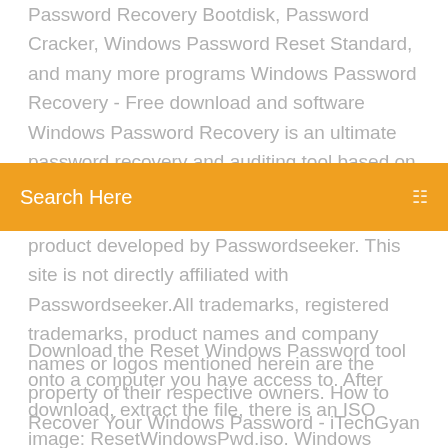Password Recovery Bootdisk, Password Cracker, Windows Password Reset Standard, and many more programs Windows Password Recovery - Free download and software Windows Password Recovery is an ultimate password recovery and auditing tool based on unique algorithms and offering unsurpassed efficiency to inexperienced users and experts
Search Here
product developed by Passwordseeker. This site is not directly affiliated with Passwordseeker.All trademarks, registered trademarks, product names and company names or logos mentioned herein are the property of their respective owners. How to Recover Your Windows Password - iTechGyan
Download the Reset Windows Password tool onto a computer you have access to. After download, extract the file, there is an ISO image: ResetWindowsPwd.iso. Windows Password Recovery Tool Pro 6.4.3.0 would be the ultimate as a type of